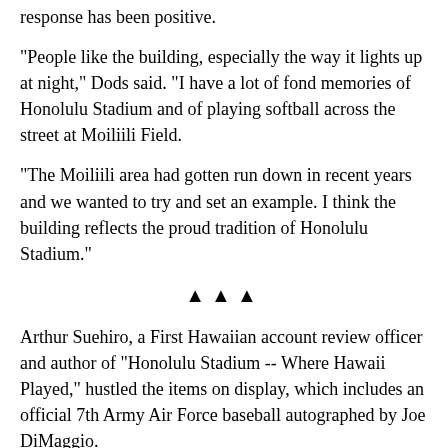response has been positive.
"People like the building, especially the way it lights up at night," Dods said. "I have a lot of fond memories of Honolulu Stadium and of playing softball across the street at Moiliili Field.
"The Moiliili area had gotten run down in recent years and we wanted to try and set an example. I think the building reflects the proud tradition of Honolulu Stadium."
▲▲▲
Arthur Suehiro, a First Hawaiian account review officer and author of "Honolulu Stadium -- Where Hawaii Played," hustled the items on display, which includes an official 7th Army Air Force baseball autographed by Joe DiMaggio.
DiMaggio homered while playing for the 7th Army team in a June 1944 game at the stadium, which drew more than 30,000 fans.
Other memorabilia include a 20-cent program from the Hawaii Islanders' inaugural 1961 Pacific Coast